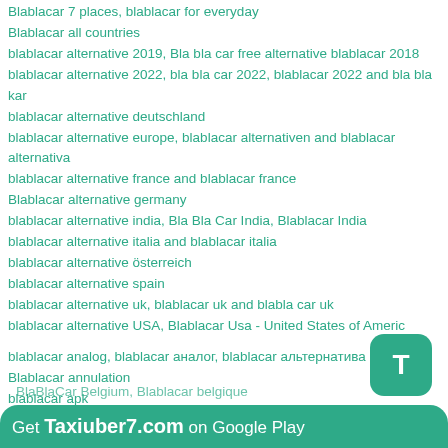Blablacar 7 places, blablacar for everyday
Blablacar all countries
blablacar alternative 2019, Bla bla car free alternative blablacar 2018
blablacar alternative 2022, bla bla car 2022, blablacar 2022 and bla bla kar
blablacar alternative deutschland
blablacar alternative europe, blablacar alternativen and blablacar alternativa
blablacar alternative france and blablacar france
Blablacar alternative germany
blablacar alternative india, Bla Bla Car India, Blablacar India
blablacar alternative italia and blablacar italia
blablacar alternative österreich
blablacar alternative spain
blablacar alternative uk, blablacar uk and blabla car uk
blablacar alternative USA, Blablacar Usa - United States of America
blablacar analog, blablacar аналог, blablacar альтернатива
Blablacar annulation
blablacar apk
blablacar app download, blablacar download and blablacar download
BlaBlaCar Belgium, Blablacar belgique
Get Taxiuber7.com on Google Play